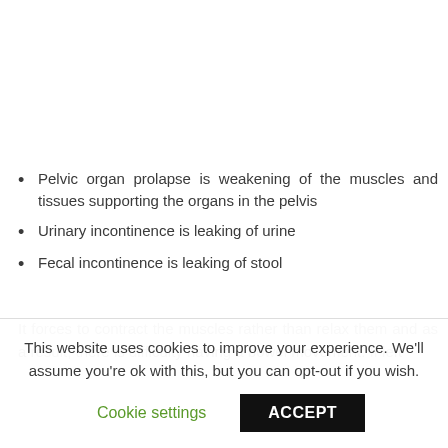Pelvic organ prolapse is weakening of the muscles and tissues supporting the organs in the pelvis
Urinary incontinence is leaking of urine
Fecal incontinence is leaking of stool
It forces to contract the muscles rather than relax them and as a result, there is difficulty having a bowel movement. If left
This website uses cookies to improve your experience. We'll assume you're ok with this, but you can opt-out if you wish. Cookie settings ACCEPT